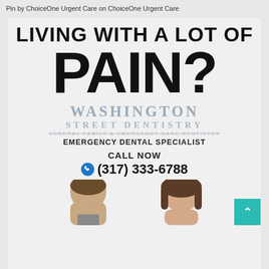Pin by ChoiceOne Urgent Care on ChoiceOne Urgent Care
LIVING WITH A LOT OF PAIN?
[Figure (infographic): Washington Street Dentistry advertisement with large bold text 'LIVING WITH A LOT OF PAIN?', dentistry branding, emergency dental specialist text, phone number (317) 333-6788, and two person faces at the bottom with a teal scroll button]
WASHINGTON
STREET DENTISTRY
GENERAL  FAMILY & EMERGENCY CARE DENTISTRY
EMERGENCY DENTAL SPECIALIST
CALL NOW
(317) 333-6788